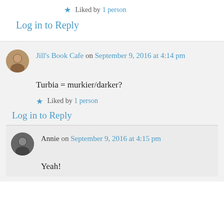★ Liked by 1 person
Log in to Reply
Jill's Book Cafe on September 9, 2016 at 4:14 pm
Turbia = murkier/darker?
★ Liked by 1 person
Log in to Reply
Annie on September 9, 2016 at 4:15 pm
Yeah!